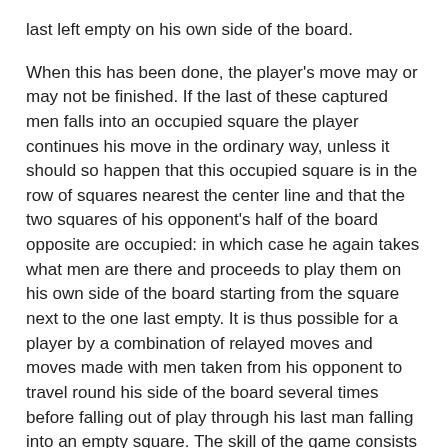last left empty on his own side of the board.
When this has been done, the player's move may or may not be finished. If the last of these captured men falls into an occupied square the player continues his move in the ordinary way, unless it should so happen that this occupied square is in the row of squares nearest the center line and that the two squares of his opponent's half of the board opposite are occupied: in which case he again takes what men are there and proceeds to play them on his own side of the board starting from the square next to the one last empty. It is thus possible for a player by a combination of relayed moves and moves made with men taken from his opponent to travel round his side of the board several times before falling out of play through his last man falling into an empty square. The skill of the game consists in working out the moves well ahead so that the opponent's men are taken whilst as few openings as possible are left to him.
There is one complication to mention: “going back.” In certain circumstances it is permissible to move back, in a clockwise direction. Notice the diagram highlighting the four